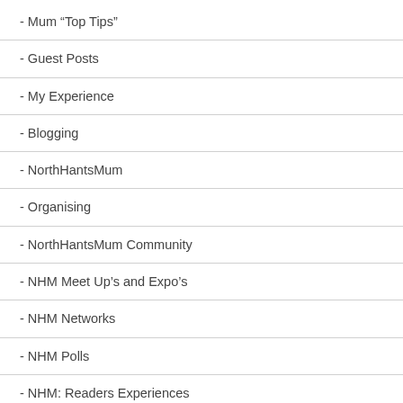- Mum “Top Tips”
- Guest Posts
- My Experience
- Blogging
- NorthHantsMum
- Organising
- NorthHantsMum Community
- NHM Meet Up’s and Expo’s
- NHM Networks
- NHM Polls
- NHM: Readers Experiences
- Special Offers for NHM Readers
Important Info